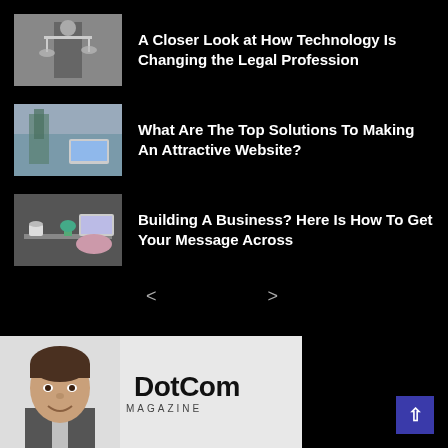[Figure (photo): Thumbnail image of Lady Justice statue holding scales]
A Closer Look at How Technology Is Changing the Legal Profession
[Figure (photo): Thumbnail image of a modern office with plants and laptop]
What Are The Top Solutions To Making An Attractive Website?
[Figure (photo): Thumbnail image of people working at a table with coffee and devices]
Building A Business? Here Is How To Get Your Message Across
< >
[Figure (photo): Bottom banner showing a headshot of a man and DotCom magazine logo]